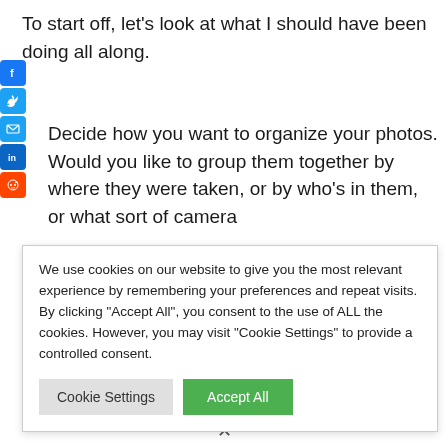To start off, let's look at what I should have been doing all along.
[Figure (infographic): Social media share icons on the left side: Facebook (blue), Twitter (blue), Email (blue), LinkedIn (blue), Reddit (orange)]
Decide how you want to organize your photos. Would you like to group them together by where they were taken, or by who's in them, or what sort of camera
We use cookies on our website to give you the most relevant experience by remembering your preferences and repeat visits. By clicking "Accept All", you consent to the use of ALL the cookies. However, you may visit "Cookie Settings" to provide a controlled consent.
Cookie Settings | Accept All